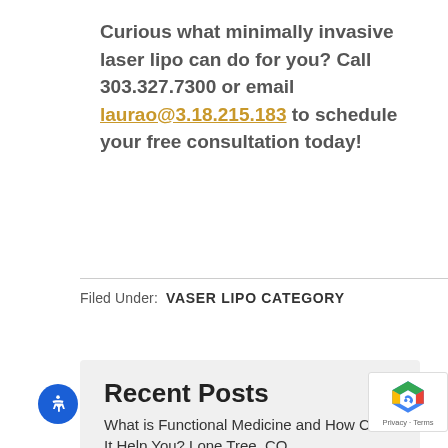Curious what minimally invasive laser lipo can do for you? Call 303.327.7300 or email laurao@3.18.215.183 to schedule your free consultation today!
Filed Under: VASER LIPO CATEGORY
Recent Posts
What is Functional Medicine and How Can It Help You? Lone Tree, CO
AUGUST 18, 2022
Botox® and Fillers FAQs Lone Tree, CO